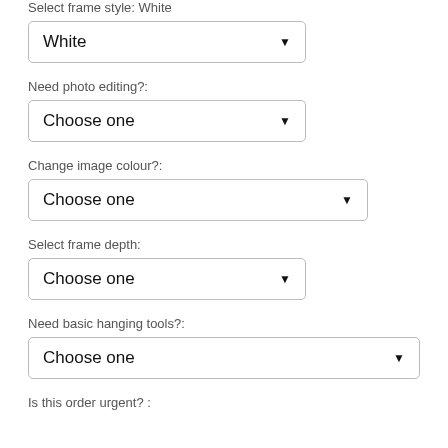Select frame style: White
[Figure (screenshot): Dropdown selector showing 'White' selected]
Need photo editing?:
[Figure (screenshot): Dropdown selector showing 'Choose one']
Change image colour?:
[Figure (screenshot): Dropdown selector showing 'Choose one']
Select frame depth:
[Figure (screenshot): Dropdown selector showing 'Choose one']
Need basic hanging tools?:
[Figure (screenshot): Dropdown selector showing 'Choose one']
Is this order urgent? :